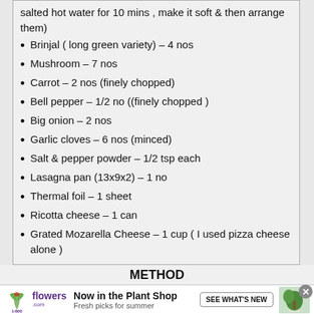salted hot water for 10 mins , make it soft & then arrange them)
Brinjal ( long green variety) – 4 nos
Mushroom – 7 nos
Carrot – 2 nos (finely chopped)
Bell pepper – 1/2 no ((finely chopped )
Big onion – 2 nos
Garlic cloves – 6 nos (minced)
Salt & pepper powder – 1/2 tsp each
Lasagna pan (13x9x2) – 1 no
Thermal foil – 1 sheet
Ricotta cheese – 1 can
Grated Mozarella Cheese – 1 cup  ( I used pizza cheese alone )
METHOD
[Figure (other): 1-800-flowers.com advertisement banner with plant shop promotion and photo of potted plant]